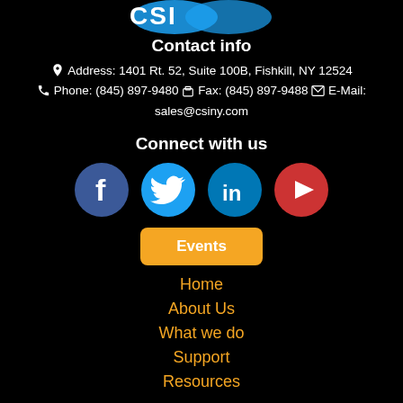[Figure (logo): CSI company logo partially visible at top]
Contact info
Address: 1401 Rt. 52, Suite 100B, Fishkill, NY 12524  Phone: (845) 897-9480  Fax: (845) 897-9488  E-Mail: sales@csiny.com
Connect with us
[Figure (illustration): Social media icons: Facebook, Twitter, LinkedIn, YouTube]
Events
Home
About Us
What we do
Support
Resources